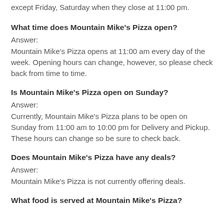except Friday, Saturday when they close at 11:00 pm.
What time does Mountain Mike's Pizza open?
Answer:
Mountain Mike's Pizza opens at 11:00 am every day of the week. Opening hours can change, however, so please check back from time to time.
Is Mountain Mike's Pizza open on Sunday?
Answer:
Currently, Mountain Mike's Pizza plans to be open on Sunday from 11:00 am to 10:00 pm for Delivery and Pickup. These hours can change so be sure to check back.
Does Mountain Mike's Pizza have any deals?
Answer:
Mountain Mike's Pizza is not currently offering deals.
What food is served at Mountain Mike's Pizza?